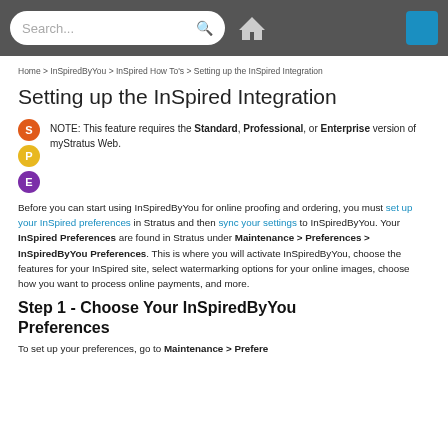Search... [search icon] [home icon] [blue button]
Home > InSpiredByYou > InSpired How To's > Setting up the InSpired Integration
Setting up the InSpired Integration
NOTE: This feature requires the Standard, Professional, or Enterprise version of myStratus Web.
Before you can start using InSpiredByYou for online proofing and ordering, you must set up your InSpired preferences in Stratus and then sync your settings to InSpiredByYou. Your InSpired Preferences are found in Stratus under Maintenance > Preferences > InSpiredByYou Preferences. This is where you will activate InSpiredByYou, choose the features for your InSpired site, select watermarking options for your online images, choose how you want to process online payments, and more.
Step 1 - Choose Your InSpiredByYou Preferences
To set up your preferences, go to Maintenance > Preferences...